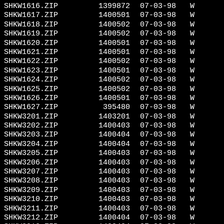| Filename | Size | Date |  |
| --- | --- | --- | --- |
| SHKW1616.ZIP | 1399872 | 07-03-98 | W |
| SHKW1617.ZIP | 1400501 | 07-03-98 | W |
| SHKW1618.ZIP | 1400502 | 07-03-98 | W |
| SHKW1619.ZIP | 1400502 | 07-03-98 | W |
| SHKW1620.ZIP | 1400501 | 07-03-98 | W |
| SHKW1621.ZIP | 1400501 | 07-03-98 | W |
| SHKW1622.ZIP | 1400502 | 07-03-98 | W |
| SHKW1623.ZIP | 1400501 | 07-03-98 | W |
| SHKW1624.ZIP | 1400502 | 07-03-98 | W |
| SHKW1625.ZIP | 1400502 | 07-03-98 | W |
| SHKW1626.ZIP | 1400501 | 07-03-98 | W |
| SHKW1627.ZIP | 395480 | 07-03-98 | W |
| SHKW3201.ZIP | 1403201 | 07-03-98 | W |
| SHKW3202.ZIP | 1400403 | 07-03-98 | W |
| SHKW3203.ZIP | 1400404 | 07-03-98 | W |
| SHKW3204.ZIP | 1400404 | 07-03-98 | W |
| SHKW3205.ZIP | 1400403 | 07-03-98 | W |
| SHKW3206.ZIP | 1400403 | 07-03-98 | W |
| SHKW3207.ZIP | 1400403 | 07-03-98 | W |
| SHKW3208.ZIP | 1400403 | 07-03-98 | W |
| SHKW3209.ZIP | 1400403 | 07-03-98 | W |
| SHKW3210.ZIP | 1400403 | 07-03-98 | W |
| SHKW3211.ZIP | 1400403 | 07-03-98 | W |
| SHKW3212.ZIP | 1400404 | 07-03-98 | W |
| SHKW3213.ZIP | 1400404 | 07-03-98 | W |